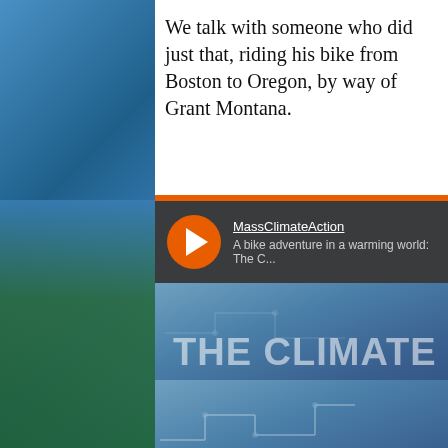We talk with someone who did just that, riding his bike from Boston to Oregon, by way of Grant Montana.
[Figure (screenshot): SoundCloud embedded player for MassClimateAction podcast episode 'A bike adventure in a warming world: The C...' showing THE CLIMATE MIN(ute) branding, www.massclimateaction.net, Play on SoundCloud button, Listen in browser button, and Mass Climate Action Network logo]